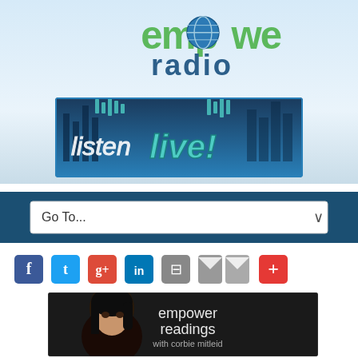[Figure (logo): Empower Radio logo with green 'empower' text and globe icon, blue 'radio' text below]
[Figure (illustration): Listen Live! banner with teal/blue background and stylized text]
[Figure (screenshot): Navigation bar with 'Go To...' dropdown selector]
[Figure (infographic): Social sharing icons: Facebook, Twitter, Google+, LinkedIn, Print, Email, Add (+)]
[Figure (photo): Empower Readings with Corbie Mitleid show banner with host photo]